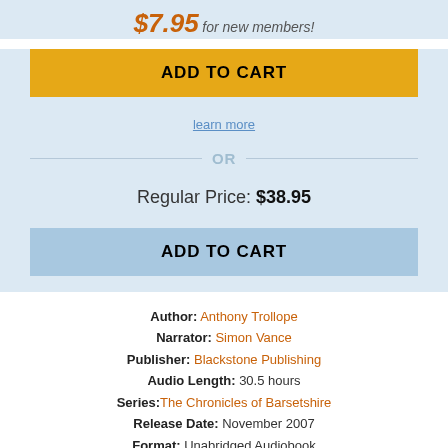$7.95 for new members!
ADD TO CART
learn more
OR
Regular Price: $38.95
ADD TO CART
Author: Anthony Trollope
Narrator: Simon Vance
Publisher: Blackstone Publishing
Audio Length: 30.5 hours
Series: The Chronicles of Barsetshire
Release Date: November 2007
Format: Unabridged Audiobook
Delivery: Instant Download
ISBN: 9781483089508